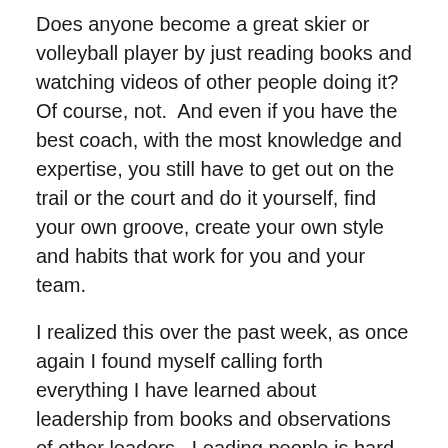Does anyone become a great skier or volleyball player by just reading books and watching videos of other people doing it?  Of course, not.  And even if you have the best coach, with the most knowledge and expertise, you still have to get out on the trail or the court and do it yourself, find your own groove, create your own style and habits that work for you and your team.
I realized this over the past week, as once again I found myself calling forth everything I have learned about leadership from books and observations of other leaders.  Leading people is hard, and I often feel at the same time that I do it well and that I totally suck at it.  I worry that because it feels mentally and emotionally exhausting, I must be doing it wrong—like if I really knew what I was doing it would just be easy.  But that is perfectionism and fixed mindset talking.  I'm pretty sure